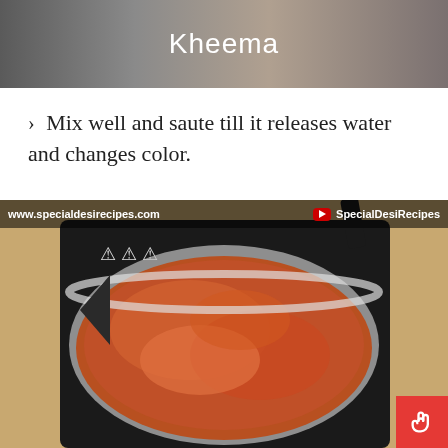[Figure (photo): Top image showing blurred cooking background with the word 'Kheema' centered in white text]
> Mix well and saute till it releases water and changes color.
[Figure (photo): Video screenshot showing a pot of sauteing kheema (minced meat) on a glass pot on an induction cooktop, with watermark 'www.specialdesirecipes.com' and 'SpecialDesiRecipes' YouTube channel branding]